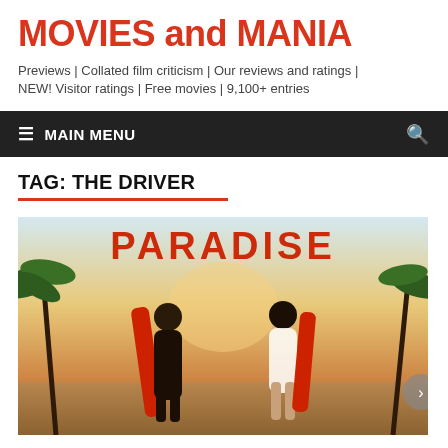MOVIES and MANIA
Previews | Collated film criticism | Our reviews and ratings | NEW! Visitor ratings | Free movies | 9,100+ entries
≡  MAIN MENU
TAG: THE DRIVER
[Figure (photo): Movie poster for a film featuring two women in bikinis holding surfboards on a beach, with the word PARADISE visible at the top. Palm trees and a warm sunset sky in the background.]